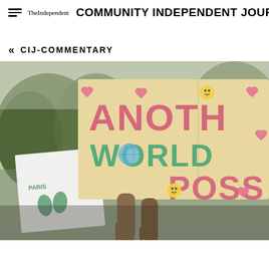TheIndependent  COMMUNITY INDEPENDENT JOURNAL
« CIJ-COMMENTARY
[Figure (photo): Protest photo showing hands holding a cardboard sign painted with 'ANOTHER WORLD IS POSSIBLE' in pink and green lettering with hearts and smiley faces. Another white banner with green handprint art is visible in the background. Trees and overcast sky visible.]